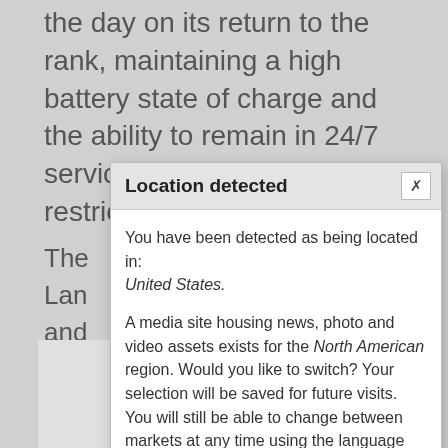the day on its return to the rank, maintaining a high battery state of charge and the ability to remain in 24/7 service without driving range restrictions.
The Lan and thro and com futu con
[Figure (screenshot): Location detected modal dialog with close button, body text about being located in United States and North American region media site, and two buttons: YES TAKE ME THERE and NO THANKS]
[Figure (illustration): Car illustration (rear/front view outline) on light grey background]